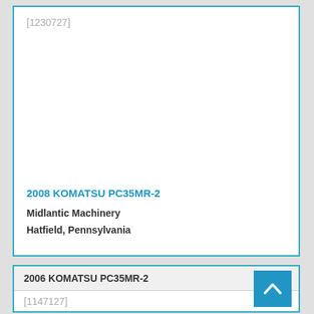[1230727]
2008 KOMATSU PC35MR-2
Midlantic Machinery
Hatfield, Pennsylvania
2006 KOMATSU PC35MR-2
[1147127]